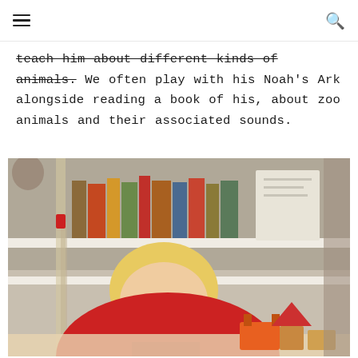Navigation menu and search icons
teach him about different kinds of animals. We often play with his Noah's Ark alongside reading a book of his, about zoo animals and their associated sounds.
[Figure (photo): A young blonde toddler in a red sweater playing with wooden toy blocks and an orange toy in front of a bookshelf filled with children's books. An easel is visible on the left side of the image.]